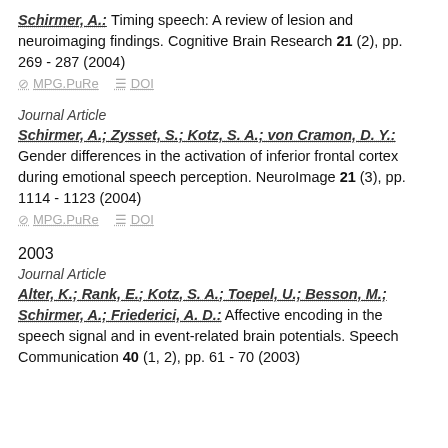Schirmer, A.: Timing speech: A review of lesion and neuroimaging findings. Cognitive Brain Research 21 (2), pp. 269 - 287 (2004)
MPG.PuRe  DOI
Journal Article
Schirmer, A.; Zysset, S.; Kotz, S. A.; von Cramon, D. Y.: Gender differences in the activation of inferior frontal cortex during emotional speech perception. NeuroImage 21 (3), pp. 1114 - 1123 (2004)
MPG.PuRe  DOI
2003
Journal Article
Alter, K.; Rank, E.; Kotz, S. A.; Toepel, U.; Besson, M.; Schirmer, A.; Friederici, A. D.: Affective encoding in the speech signal and in event-related brain potentials. Speech Communication 40 (1-2), pp. 61 - 70 (2003)